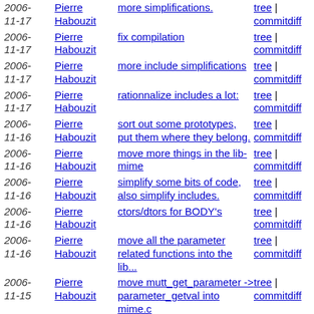2006-11-17 | Pierre Habouzit | more simplifications. | tree | commitdiff
2006-11-17 | Pierre Habouzit | fix compilation | tree | commitdiff
2006-11-17 | Pierre Habouzit | more include simplifications | tree | commitdiff
2006-11-17 | Pierre Habouzit | rationnalize includes a lot: | tree | commitdiff
2006-11-16 | Pierre Habouzit | sort out some prototypes, put them where they belong. | tree | commitdiff
2006-11-16 | Pierre Habouzit | move more things in the lib-mime | tree | commitdiff
2006-11-16 | Pierre Habouzit | simplify some bits of code, also simplify includes. | tree | commitdiff
2006-11-16 | Pierre Habouzit | ctors/dtors for BODY's | tree | commitdiff
2006-11-16 | Pierre Habouzit | move all the parameter related functions into the lib... | tree | commitdiff
2006-11-15 | Pierre Habouzit | move mutt_get_parameter -> parameter_getval into mime.c | tree | commitdiff
2006-11-15 | Pierre Habouzit | use more ad-hoc list handling function, and avoid to... | tree | commitdiff
2006- | Pierre | ... | tree |